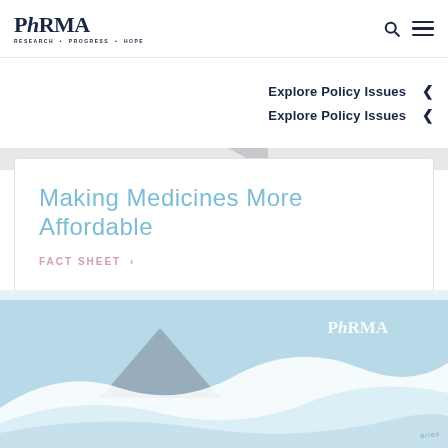[Figure (logo): PhRMA logo with tagline RESEARCH · PROGRESS · HOPE in dark navy]
Explore Policy Issues  ◀
Explore Policy Issues  ◀
Making Medicines More Affordable
FACT SHEET >
[Figure (illustration): PhRMA branded illustration with light blue background, white wave shapes, and a dark triangular shape, with PhRMA logo visible]